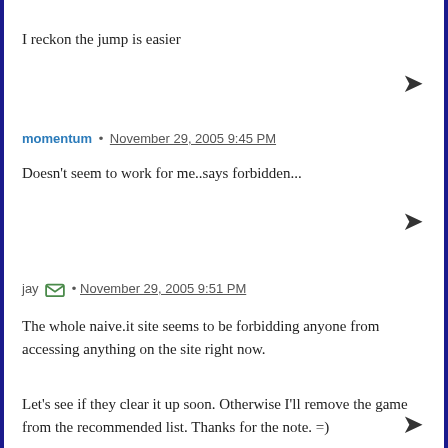I reckon the jump is easier
momentum · November 29, 2005 9:45 PM
Doesn't seem to work for me..says forbidden...
jay · November 29, 2005 9:51 PM
The whole naive.it site seems to be forbidding anyone from accessing anything on the site right now.
Let's see if they clear it up soon. Otherwise I'll remove the game from the recommended list. Thanks for the note. =)